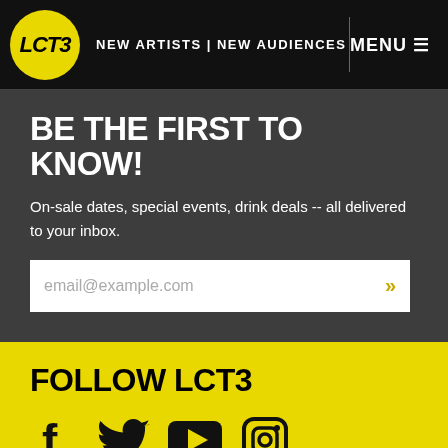LCT3 NEW ARTISTS | NEW AUDIENCES  MENU
BE THE FIRST TO KNOW!
On-sale dates, special events, drink deals -- all delivered to your inbox.
email@example.com »
FOLLOW LCT3
[Figure (infographic): Social media icons: Facebook, Twitter, YouTube, Instagram]